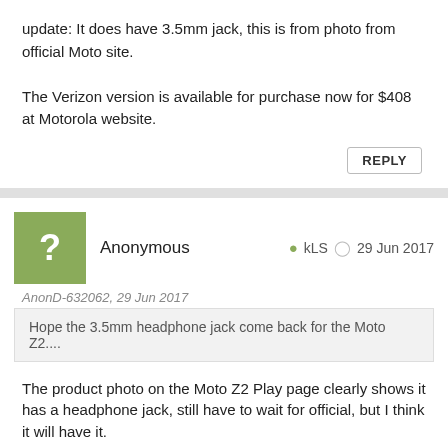update: It does have 3.5mm jack, this is from photo from official Moto site.

The Verizon version is available for purchase now for $408 at Motorola website.
REPLY
Anonymous   kLS   29 Jun 2017
AnonD-632062, 29 Jun 2017
Hope the 3.5mm headphone jack come back for the Moto Z2....
The product photo on the Moto Z2 Play page clearly shows it has a headphone jack, still have to wait for official, but I think it will have it.
REPLY